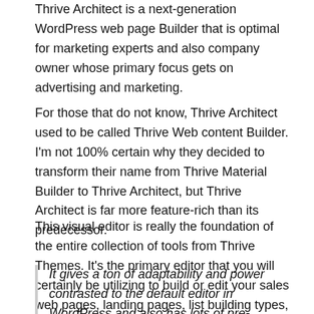Thrive Architect is a next-generation WordPress web page Builder that is optimal for marketing experts and also company owner whose primary focus gets on advertising and marketing.
For those that do not know, Thrive Architect used to be called Thrive Web content Builder. I'm not 100% certain why they decided to transform their name from Thrive Material Builder to Thrive Architect, but Thrive Architect is far more feature-rich than its predecessor.
This visual editor is really the foundation of the entire collection of tools from Thrive Themes. It's the primary editor that you will certainly be utilizing to build or edit your sales web pages, landing pages, list building types, and so on.
It gives a ton of adaptability and power contrasted to the default editor in WordPress and also has lots of pre-designed landing